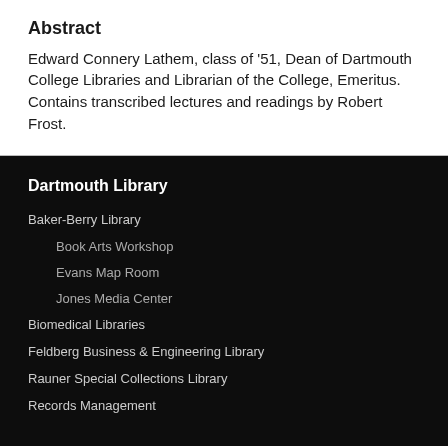Abstract
Edward Connery Lathem, class of '51, Dean of Dartmouth College Libraries and Librarian of the College, Emeritus. Contains transcribed lectures and readings by Robert Frost.
Dartmouth Library
Baker-Berry Library
Book Arts Workshop
Evans Map Room
Jones Media Center
Biomedical Libraries
Feldberg Business & Engineering Library
Rauner Special Collections Library
Records Management